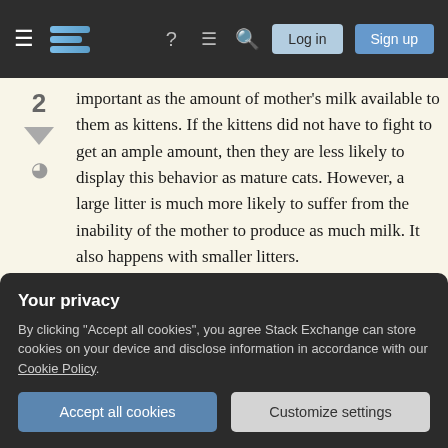Stack Exchange navigation bar with hamburger menu, logo, help, chat, search icons, Log in and Sign up buttons
important as the amount of mother's milk available to them as kittens. If the kittens did not have to fight to get an ample amount, then they are less likely to display this behavior as mature cats. However, a large litter is much more likely to suffer from the inability of the mother to produce as much milk. It also happens with smaller litters.
There are replacement milk products available that can be used to supply the kittens with enough food should the mother not produce an adequate
Your privacy
By clicking "Accept all cookies", you agree Stack Exchange can store cookies on your device and disclose information in accordance with our Cookie Policy.